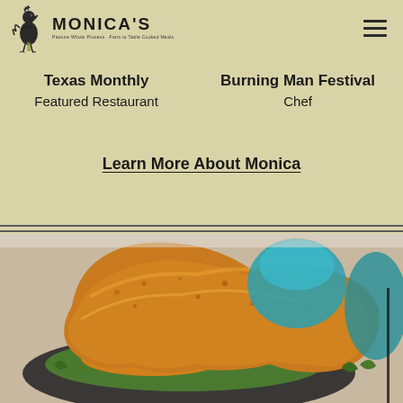[Figure (logo): Monica's restaurant logo with rooster icon and name]
Texas Monthly
Featured Restaurant
Burning Man Festival
Chef
Learn More About Monica
[Figure (photo): Close-up food photo of a fried crispy item (possibly a schnitzel or fried flatbread) on a dark plate with colorful salsa/salad and arugula, with teal/turquoise dishes in background]